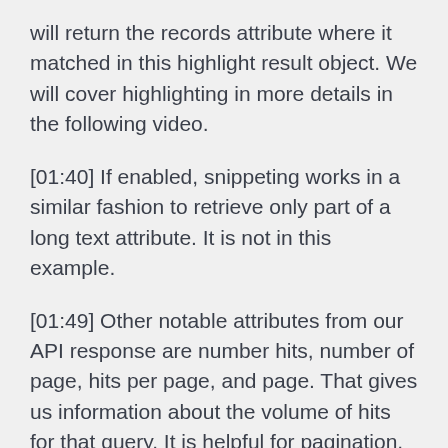will return the records attribute where it matched in this highlight result object. We will cover highlighting in more details in the following video.
[01:40] If enabled, snippeting works in a similar fashion to retrieve only part of a long text attribute. It is not in this example.
[01:49] Other notable attributes from our API response are number hits, number of page, hits per page, and page. That gives us information about the volume of hits for that query. It is helpful for pagination, for instance. Processing time and number hits are also used for stats.
[02:08] The query attribute refers to the actual